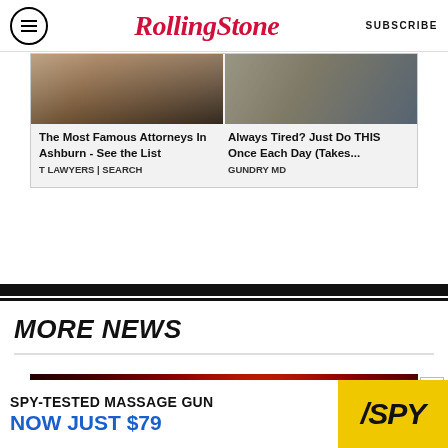Rolling Stone — SUBSCRIBE
[Figure (photo): Advertisement with two images: a woman and man (attorneys ad) on left, two people on right (health ad)]
The Most Famous Attorneys In Ashburn - See the List
T LAWYERS | SEARCH
Always Tired? Just Do THIS Once Each Day (Takes...
GUNDRY MD
MORE NEWS
[Figure (photo): Dark red bokeh background image, appears to be concert/music related with a bright light]
X
SPY-TESTED MASSAGE GUN NOW JUST $79
[Figure (logo): SPY logo on yellow background]